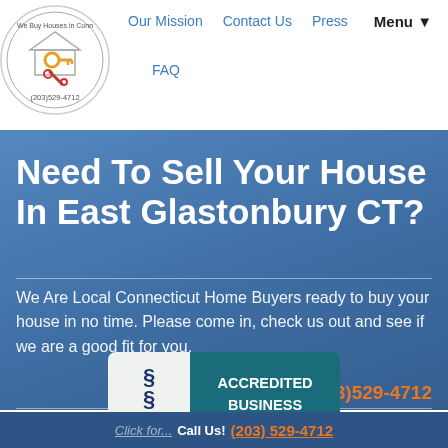Our Mission   Contact Us   Press   Menu▼   FAQ
Need To Sell Your House In East Glastonbury CT?
We Are Local Connecticut Home Buyers ready to buy your house in no time. Please come in, check us out and see if we are a good fit for you.
Questions? Call Us! (203)529-4712
[Figure (logo): BBB Accredited Business badge with blue background and white text]
Click for... Call Us! (203) 529-4712